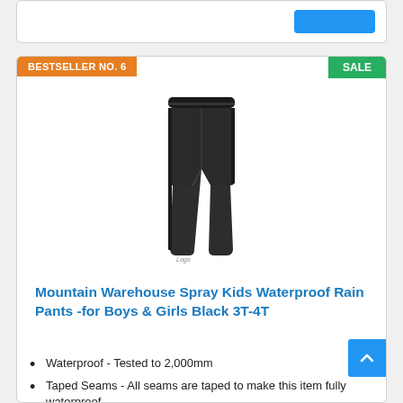[Figure (screenshot): Top portion of an e-commerce webpage, showing a partial product card with a blue button]
BESTSELLER NO. 6
SALE
[Figure (photo): Product photo of black kids waterproof rain pants]
Mountain Warehouse Spray Kids Waterproof Rain Pants -for Boys & Girls Black 3T-4T
Waterproof - Tested to 2,000mm
Taped Seams - All seams are taped to make this item fully waterproof
Mesh Lining - Improves breathability by allowing air to circulate through your clothing